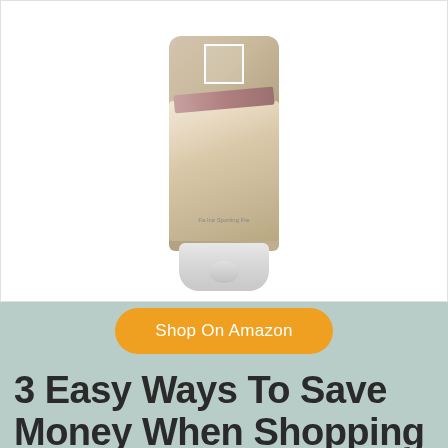[Figure (photo): Product image of a tube/squeeze bottle with ice cream imagery on the label, featuring a white square logo at the top, a pink ribbon design, and ice cream scoops. The tube has a white rounded base/cap with a bump.]
Shop On Amazon
3 Easy Ways To Save Money When Shopping